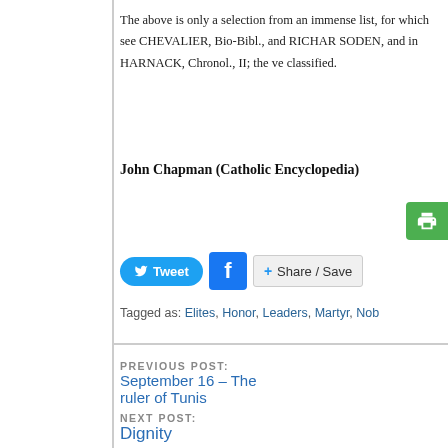The above is only a selection from an immense list, for which see CHEVALIER, Bio-Bibl., and RICHARDSON; SODEN, and in HARNACK, Chronol., II; the versions are classified.
John Chapman (Catholic Encyclopedia)
Tagged as: Elites, Honor, Leaders, Martyr, Nob...
PREVIOUS POST: September 16 – The ruler of Tunis
NEXT POST: Dignity